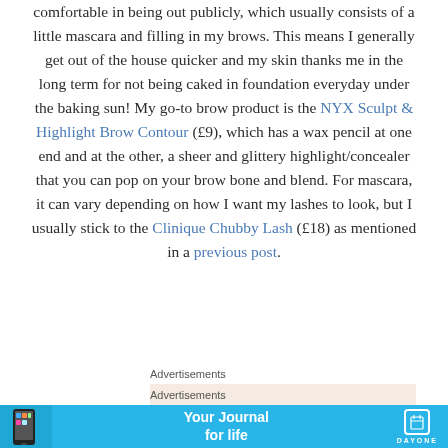comfortable in being out publicly, which usually consists of a little mascara and filling in my brows. This means I generally get out of the house quicker and my skin thanks me in the long term for not being caked in foundation everyday under the baking sun! My go-to brow product is the NYX Sculpt & Highlight Brow Contour (£9), which has a wax pencil at one end and at the other, a sheer and glittery highlight/concealer that you can pop on your brow bone and blend. For mascara, it can vary depending on how I want my lashes to look, but I usually stick to the Clinique Chubby Lash (£18) as mentioned in a previous post.
Advertisements
[Figure (other): Advertisement banner with beige background showing text 'Need a website quickly –']
Advertisements
[Figure (other): Advertisement banner for Day One app with cyan background showing phone image, text 'Your Journal for life' and Day One logo]